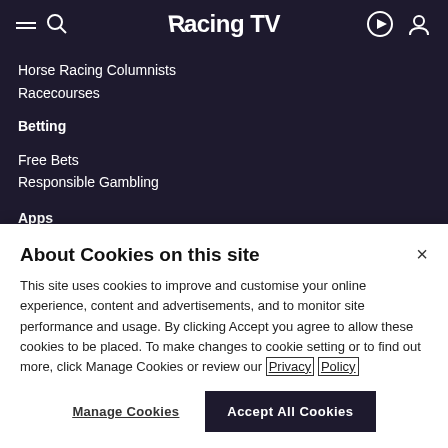Racing TV
Horse Racing Columnists
Racecourses
Betting
Free Bets
Responsible Gambling
Apps
About Cookies on this site
This site uses cookies to improve and customise your online experience, content and advertisements, and to monitor site performance and usage. By clicking Accept you agree to allow these cookies to be placed. To make changes to cookie setting or to find out more, click Manage Cookies or review our Privacy Policy
Manage Cookies
Accept All Cookies